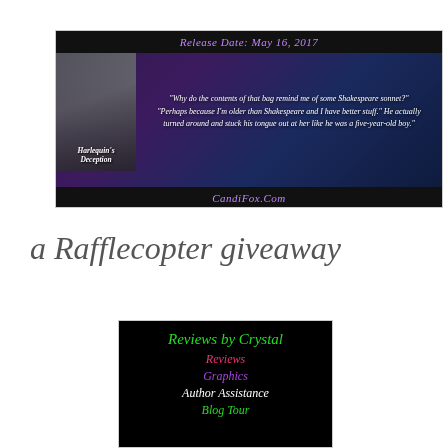[Figure (illustration): Promotional banner for 'Harlequin's Deception' book. Dark purple/space background with book cover on left showing a woman's face. Top black bar reads 'Release Date: May 16, 2017' in purple italic text. Quote text in italic white: '"Why do the contents of that bag remind me of some Shakespeare sonnet?" "Perhaps because I'm older than Shakespeare and I have better stuff." He actually turned around and stuck his tongue out at her like he was a five-year-old boy.' Bottom black bar reads 'CandiFox.Com' in purple italic.]
a Rafflecopter giveaway
[Figure (illustration): Black background graphic for 'Reviews by Crystal' showing: 'Reviews by Crystal' in green italic, 'Reviews' in pink/red italic, 'Graphics' in purple italic, 'Author Assistance' in white italic, 'Blog Tour' in green italic (partially visible).]